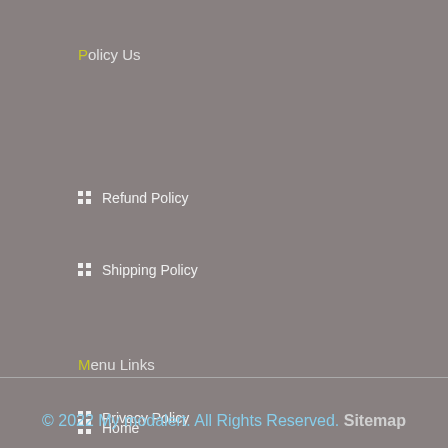Policy Us
Refund Policy
Shipping Policy
Privacy Policy
Menu Links
Home
About Us
Contact
Smart Drugs
© 2022 My modalert. All Rights Reserved. Sitemap